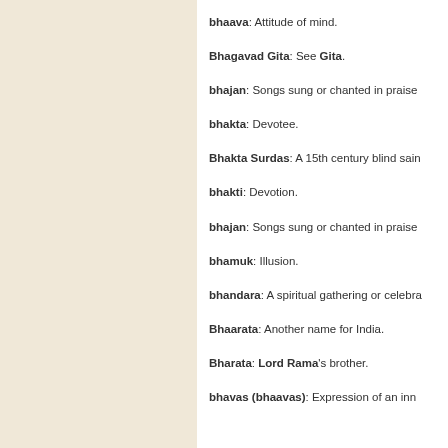bhaava: Attitude of mind.
Bhagavad Gita: See Gita.
bhajan: Songs sung or chanted in praise
bhakta: Devotee.
Bhakta Surdas: A 15th century blind sain
bhakti: Devotion.
bhajan: Songs sung or chanted in praise
bhamuk: Illusion.
bhandara: A spiritual gathering or celebra
Bhaarata: Another name for India.
Bharata: Lord Rama's brother.
bhavas (bhaavas): Expression of an inn